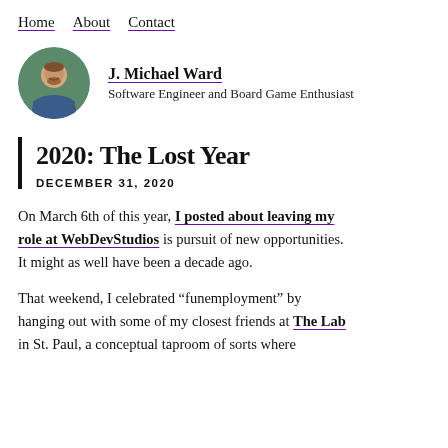Home   About   Contact
[Figure (photo): Circular avatar photo of J. Michael Ward, a man with a beard, arms crossed, smiling, wearing a blue shirt against a green background.]
J. Michael Ward
Software Engineer and Board Game Enthusiast
2020: The Lost Year
DECEMBER 31, 2020
On March 6th of this year, I posted about leaving my role at WebDevStudios is pursuit of new opportunities. It might as well have been a decade ago.
That weekend, I celebrated “funemployment” by hanging out with some of my closest friends at The Lab in St. Paul, a conceptual taproom of sorts where